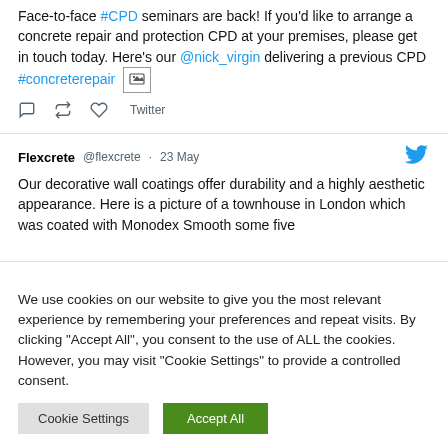Face-to-face #CPD seminars are back! If you'd like to arrange a concrete repair and protection CPD at your premises, please get in touch today. Here's our @nick_virgin delivering a previous CPD #concreterepair [image]
Twitter (actions: reply, retweet, like)
Flexcrete @flexcrete · 23 May
Our decorative wall coatings offer durability and a highly aesthetic appearance. Here is a picture of a townhouse in London which was coated with Monodex Smooth some five
We use cookies on our website to give you the most relevant experience by remembering your preferences and repeat visits. By clicking "Accept All", you consent to the use of ALL the cookies. However, you may visit "Cookie Settings" to provide a controlled consent.
Cookie Settings | Accept All